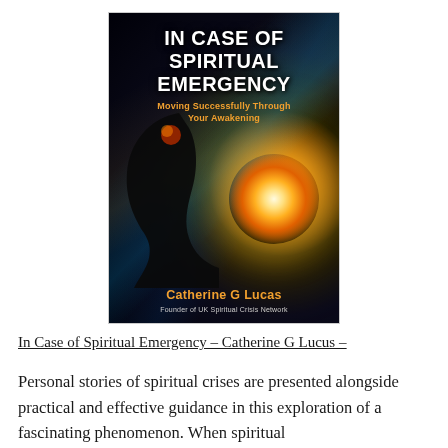[Figure (illustration): Book cover of 'In Case of Spiritual Emergency – Moving Successfully Through Your Awakening' by Catherine G Lucas, Founder of UK Spiritual Crisis Network. Dark background with silhouette of a person's profile and a bright light burst, swirling colors of blue, orange, and green.]
In Case of Spiritual Emergency – Catherine G Lucus –
Personal stories of spiritual crises are presented alongside practical and effective guidance in this exploration of a fascinating phenomenon. When spiritual